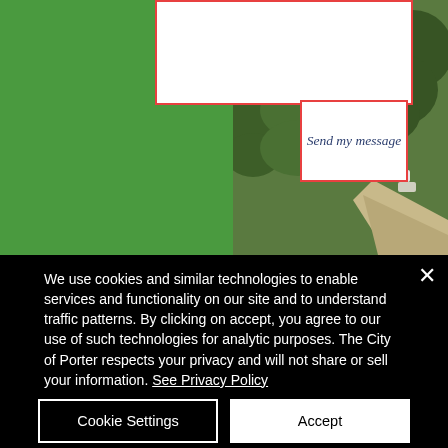[Figure (screenshot): Website contact form section showing a green background panel with a white form area at top, a 'Send my message' button with red border, and an aerial photograph of a wooded area with a road on the right side.]
301 Lone Tree Street
PO Box 130
Porter, Minnesota 56280
We use cookies and similar technologies to enable services and functionality on our site and to understand traffic patterns. By clicking on accept, you agree to our use of such technologies for analytic purposes. The City of Porter respects your privacy and will not share or sell your information. See Privacy Policy